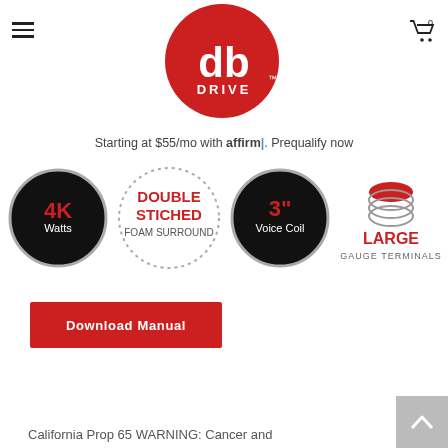[Figure (logo): db Drive logo: red circle with white 'db' letters and 'DRIVE' text below, TM mark]
Starting at $55/mo with affirm. Prequalify now
[Figure (infographic): Four product feature badges: 4K Watts (black circle with red text), Double Stiched Foam Surround (dotted circle), 3" Voice Coil (black circle), Large Gauge Terminals (coil illustration)]
[Figure (other): Download Manual red button]
California Prop 65 WARNING: Cancer and